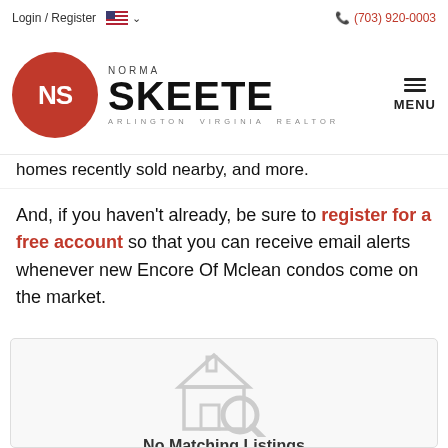Login / Register  🇺🇸 ∨   (703) 920-0003
[Figure (logo): NS Norma Skeete Arlington Virginia Realtor logo with red circle and bold text]
homes recently sold nearby, and more.
And, if you haven't already, be sure to register for a free account so that you can receive email alerts whenever new Encore Of Mclean condos come on the market.
[Figure (illustration): House with magnifying glass icon indicating no search results found]
No Matching Listings
Get notified when matching listings become